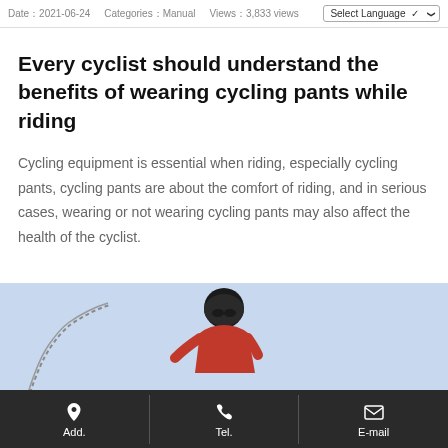Date：2021-06-24   Categories：Manual   Views：3,833 views
Every cyclist should understand the benefits of wearing cycling pants while riding
Cycling equipment is essential when riding, especially cycling pants, cycling pants are about the comfort of riding, and in serious cases, wearing or not wearing cycling pants may also affect the health of the cyclist.
[Figure (photo): Cyclist wearing helmet and orange jacket riding outdoors against a light blue sky background, with a chain visible on the left side.]
Add.   Tel.   E-mail